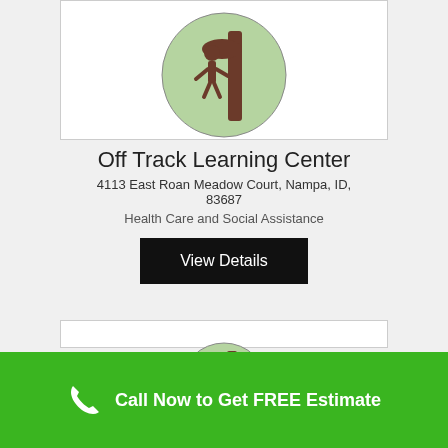[Figure (logo): Circular logo with green background showing a person climbing a tree, brown illustration style]
Off Track Learning Center
4113 East Roan Meadow Court, Nampa, ID, 83687
Health Care and Social Assistance
View Details
[Figure (logo): Circular logo with green background showing a person with a chainsaw cutting a tree, brown illustration style]
Call Now to Get FREE Estimate